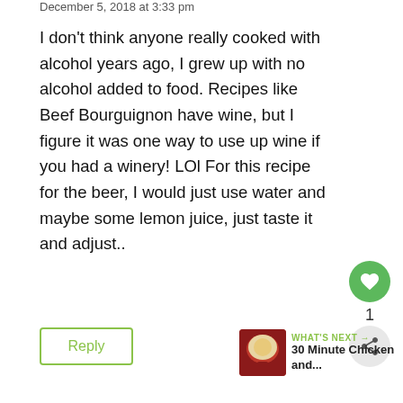December 5, 2018 at 3:33 pm
I don't think anyone really cooked with alcohol years ago, I grew up with no alcohol added to food. Recipes like Beef Bourguignon have wine, but I figure it was one way to use up wine if you had a winery! LOl For this recipe for the beer, I would just use water and maybe some lemon juice, just taste it and adjust..
Reply
WHAT'S NEXT → 30 Minute Chicken and...